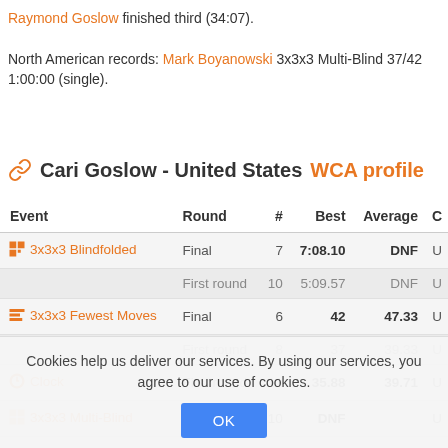Raymond Goslow finished third (34:07).
North American records: Mark Boyanowski 3x3x3 Multi-Blind 37/42 1:00:00 (single).
Cari Goslow - United States WCA profile
| Event | Round | # | Best | Average | C |
| --- | --- | --- | --- | --- | --- |
| 3x3x3 Blindfolded | Final | 7 | 7:08.10 | DNF | U |
|  | First round | 10 | 5:09.57 | DNF | U |
| 3x3x3 Fewest Moves | Final | 6 | 42 | 47.33 | U |
|  | First round | 8 | 37 | 39.33 | U |
| Clock | First round | 11 | 35.88 | 39.71 | U |
| 3x3x3 Multi-Blind | Final | 10 | DNF |  | U |
Cookies help us deliver our services. By using our services, you agree to our use of cookies.